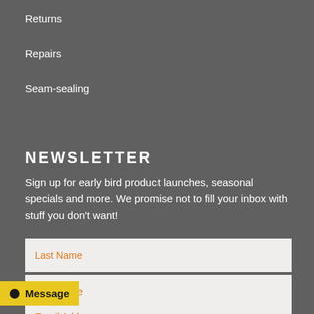Returns
Repairs
Seam-sealing
NEWSLETTER
Sign up for early bird product launches, seasonal specials and more. We promise not to fill your inbox with stuff you don't want!
Last Name
First Name
Email Address
Message